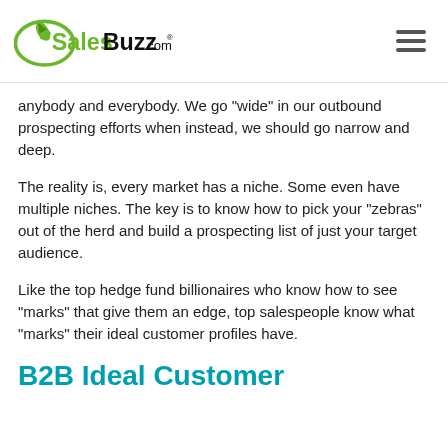[Figure (logo): SalesBuzz.com logo with green rocket/swoosh graphic and text SalesBuzz.com with registered trademark symbol]
anybody and everybody. We go "wide" in our outbound prospecting efforts when instead, we should go narrow and deep.
The reality is, every market has a niche. Some even have multiple niches. The key is to know how to pick your "zebras" out of the herd and build a prospecting list of just your target audience.
Like the top hedge fund billionaires who know how to see "marks" that give them an edge, top salespeople know what "marks" their ideal customer profiles have.
B2B Ideal Customer